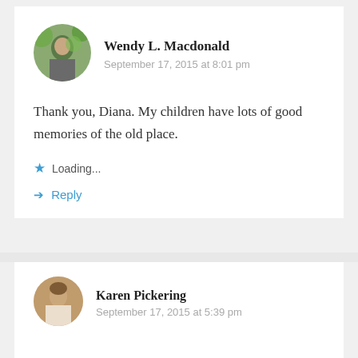[Figure (photo): Circular avatar photo of Wendy L. Macdonald, showing person with greenery/flowers in background]
Wendy L. Macdonald
September 17, 2015 at 8:01 pm
Thank you, Diana. My children have lots of good memories of the old place.
Loading...
Reply
[Figure (photo): Circular avatar photo of Karen Pickering, showing a woman]
Karen Pickering
September 17, 2015 at 5:39 pm